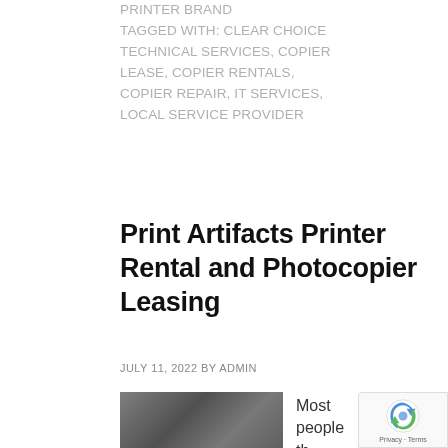PRINTER BRAND
TAGGED WITH: CLEAR CHOICE TECHNICAL SERVICES, COPIER LEASE, COPIER RENTALS, COPIER REPAIR, IT SERVICES, LOCAL SERVICE PROVIDER
Print Artifacts Printer Rental and Photocopier Leasing
JULY 11, 2022 BY ADMIN
[Figure (photo): Person working at a laptop/copier machine]
Most people th...